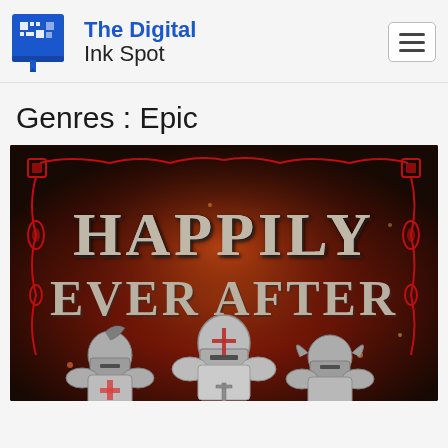The Digital Ink Spot
Genres : Epic
[Figure (illustration): Book cover for 'Happily Ever After' showing medieval knights in armor against a dark fiery background with red ornamental border decorations and large stylized text reading HAPPILY EVER AFTER]